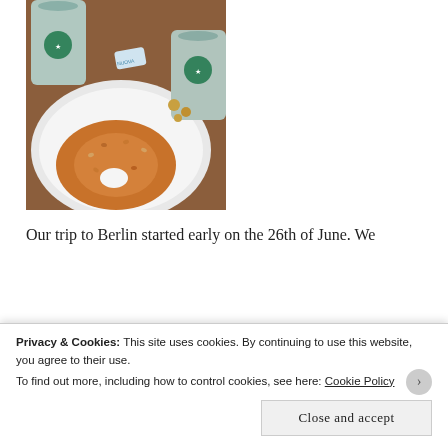[Figure (photo): Photo of a Starbucks coffee cup, a bagel on a white plate, coins, and a small packet on a wooden table, viewed from above]
Our trip to Berlin started early on the 26th of June. We
Privacy & Cookies: This site uses cookies. By continuing to use this website, you agree to their use.
To find out more, including how to control cookies, see here: Cookie Policy